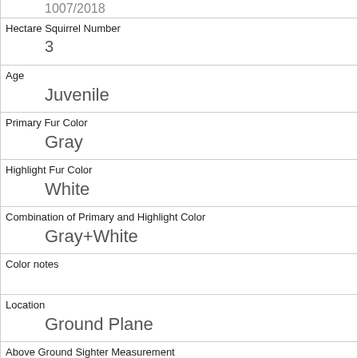| Field | Value |
| --- | --- |
| (partial) 1007/2018 |  |
| Hectare Squirrel Number | 3 |
| Age | Juvenile |
| Primary Fur Color | Gray |
| Highlight Fur Color | White |
| Combination of Primary and Highlight Color | Gray+White |
| Color notes |  |
| Location | Ground Plane |
| Above Ground Sighter Measurement | FALSE |
| Specific Location |  |
| Running | 0 |